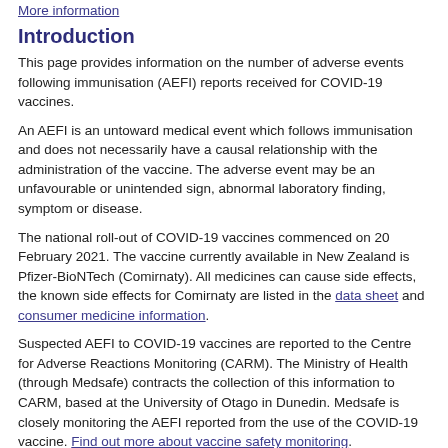More information
Introduction
This page provides information on the number of adverse events following immunisation (AEFI) reports received for COVID-19 vaccines.
An AEFI is an untoward medical event which follows immunisation and does not necessarily have a causal relationship with the administration of the vaccine. The adverse event may be an unfavourable or unintended sign, abnormal laboratory finding, symptom or disease.
The national roll-out of COVID-19 vaccines commenced on 20 February 2021. The vaccine currently available in New Zealand is Pfizer-BioNTech (Comirnaty). All medicines can cause side effects, the known side effects for Comirnaty are listed in the data sheet and consumer medicine information.
Suspected AEFI to COVID-19 vaccines are reported to the Centre for Adverse Reactions Monitoring (CARM). The Ministry of Health (through Medsafe) contracts the collection of this information to CARM, based at the University of Otago in Dunedin. Medsafe is closely monitoring the AEFI reported from the use of the COVID-19 vaccine. Find out more about vaccine safety monitoring.
Medsafe and CARM thank everyone who has contributed to the monitoring of COVID-19 vaccines. Please continue to report any adverse events following immunisation.
Adverse events following immunisation (AEFI) reported